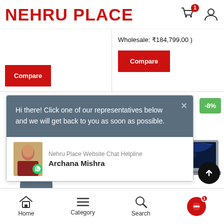NEHRU PLACE
Wholesale: ₹184,799.00 )
Compare
Compare
Hi there! Click one of our representatives below and we will get back to you as soon as possible.
Nehru Place Website Chat Helpline
Archana Mishra
-8%
[Figure (screenshot): MacBook laptop product image visible partially on the right side]
Home
Category
Search